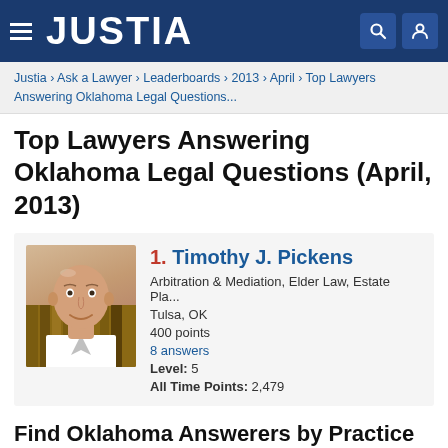JUSTIA
Justia › Ask a Lawyer › Leaderboards › 2013 › April › Top Lawyers Answering Oklahoma Legal Questions...
Top Lawyers Answering Oklahoma Legal Questions (April, 2013)
1. Timothy J. Pickens
Arbitration & Mediation, Elder Law, Estate Pla...
Tulsa, OK
400 points
8 answers
Level: 5
All Time Points: 2,479
Find Oklahoma Answerers by Practice Area